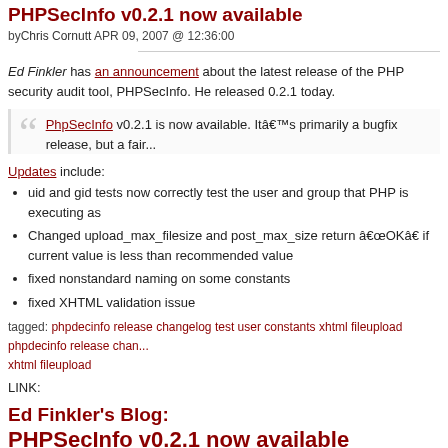PHPSecInfo v0.2.1 now available
by Chris Cornutt APR 09, 2007 @ 12:36:00
Ed Finkler has an announcement about the latest release of the PHP security audit tool, PHPSecInfo. He released 0.2.1 today.
PhpSecInfo v0.2.1 is now available. Itâ€™s primarily a bugfix release, but a fair...
Updates include:
uid and gid tests now correctly test the user and group that PHP is executing as
Changed upload_max_filesize and post_max_size return â€œOKâ€ if current value is less than recommended value
fixed nonstandard naming on some constants
fixed XHTML validation issue
tagged: phpdecinfo release changelog test user constants xhtml fileupload phpdecinfo release changelog xhtml fileupload
LINK:
Ed Finkler's Blog:
PHPSecInfo v0.2.1 now available
by Chris Cornutt APR 09, 2007 @ 12:36:00